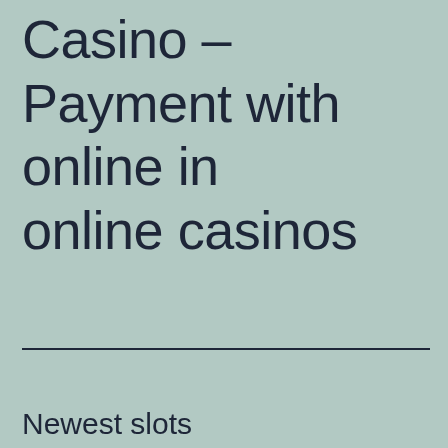Casino – Payment with online in online casinos
Newest slots